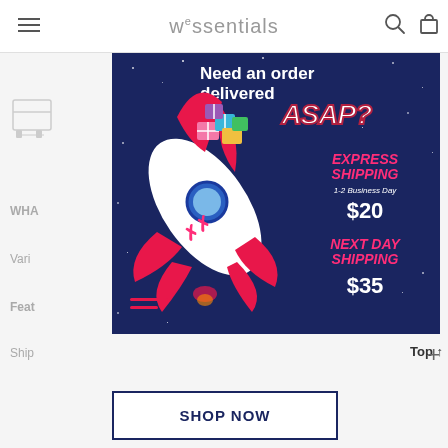wessentials
[Figure (infographic): Promotional banner on dark navy background with a cartoon rocket carrying colorful gift boxes. Text reads 'Need an order delivered ASAP?' with EXPRESS SHIPPING 1-2 Business Day $20 and NEXT DAY SHIPPING $35.]
SHOP NOW